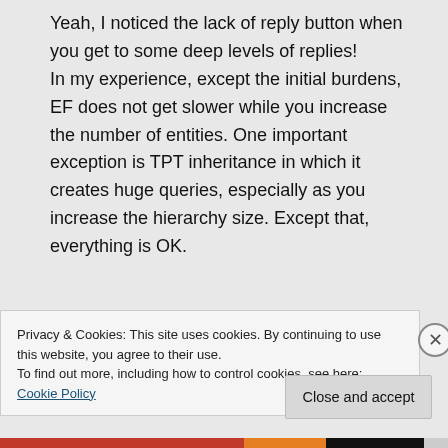Yeah, I noticed the lack of reply button when you get to some deep levels of replies! In my experience, except the initial burdens, EF does not get slower while you increase the number of entities. One important exception is TPT inheritance in which it creates huge queries, especially as you increase the hierarchy size. Except that, everything is OK.
Privacy & Cookies: This site uses cookies. By continuing to use this website, you agree to their use. To find out more, including how to control cookies, see here: Cookie Policy
Close and accept